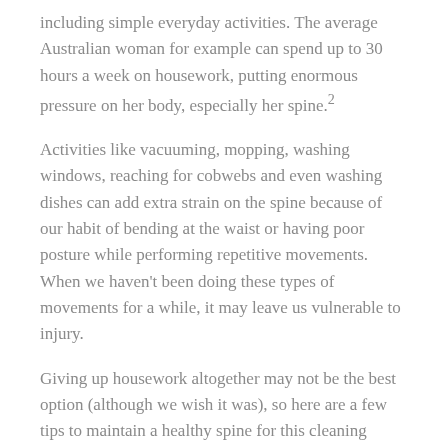including simple everyday activities. The average Australian woman for example can spend up to 30 hours a week on housework, putting enormous pressure on her body, especially her spine.²
Activities like vacuuming, mopping, washing windows, reaching for cobwebs and even washing dishes can add extra strain on the spine because of our habit of bending at the waist or having poor posture while performing repetitive movements. When we haven't been doing these types of movements for a while, it may leave us vulnerable to injury.
Giving up housework altogether may not be the best option (although we wish it was), so here are a few tips to maintain a healthy spine for this cleaning season and beyond:
Warmup – Warming up your back with a little walk or starting with smaller tasks may help reduce injury. Avoid starting these big cleaning jobs early in the morning,